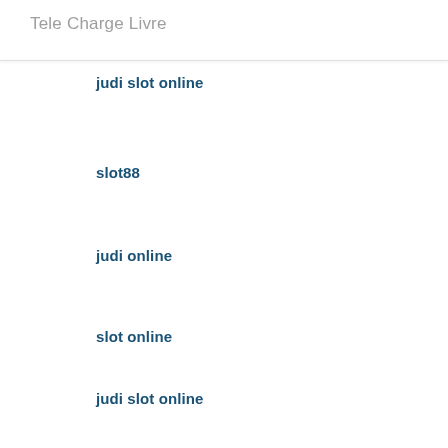Tele Charge Livre
judi slot online
slot88
judi online
slot online
judi slot online
situs judi slot
bandarqq
slot gacor